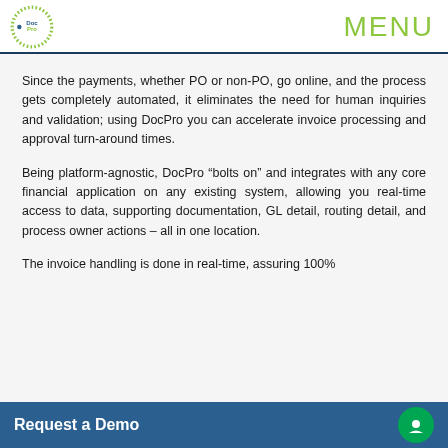DocPro | MENU
Since the payments, whether PO or non-PO, go online, and the process gets completely automated, it eliminates the need for human inquiries and validation; using DocPro you can accelerate invoice processing and approval turn-around times.
Being platform-agnostic, DocPro “bolts on” and integrates with any core financial application on any existing system, allowing you real-time access to data, supporting documentation, GL detail, routing detail, and process owner actions – all in one location.
The invoice handling is done in real-time, assuring 100% process and k…